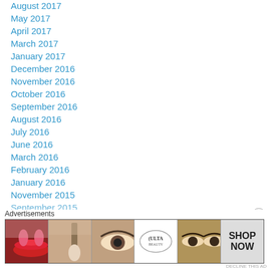August 2017
May 2017
April 2017
March 2017
January 2017
December 2016
November 2016
October 2016
September 2016
August 2016
July 2016
June 2016
March 2016
February 2016
January 2016
November 2015
September 2015
Advertisements
[Figure (photo): Ulta Beauty advertisement banner showing makeup images including lips, brush, eye with makeup, Ulta Beauty logo, eyes close-up, and SHOP NOW text]